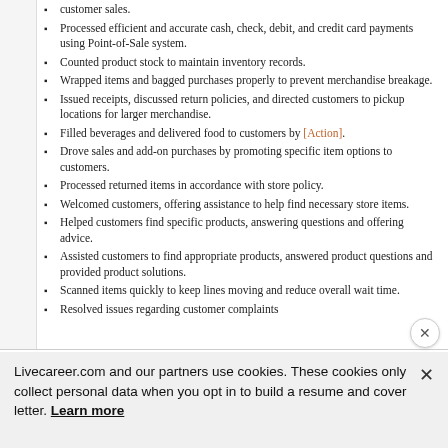customer sales.
Processed efficient and accurate cash, check, debit, and credit card payments using Point-of-Sale system.
Counted product stock to maintain inventory records.
Wrapped items and bagged purchases properly to prevent merchandise breakage.
Issued receipts, discussed return policies, and directed customers to pickup locations for larger merchandise.
Filled beverages and delivered food to customers by [Action].
Drove sales and add-on purchases by promoting specific item options to customers.
Processed returned items in accordance with store policy.
Welcomed customers, offering assistance to help find necessary store items.
Helped customers find specific products, answering questions and offering advice.
Assisted customers to find appropriate products, answered product questions and provided product solutions.
Scanned items quickly to keep lines moving and reduce overall wait time.
Resolved issues regarding customer complaints
Livecareer.com and our partners use cookies. These cookies only collect personal data when you opt in to build a resume and cover letter. Learn more